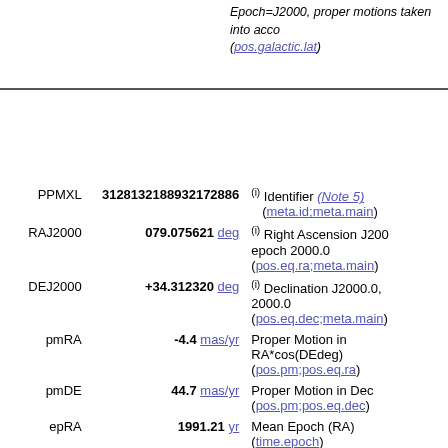Epoch=J2000, proper motions taken into account (pos.galactic.lat)
| Field | Value | Description |
| --- | --- | --- |
| PPMXL | 3128132188932172886 | (i) Identifier (Note 5) (meta.id;meta.main) |
| RAJ2000 | 079.075621 deg | (i) Right Ascension J2000 epoch 2000.0 (pos.eq.ra;meta.main) |
| DEJ2000 | +34.312320 deg | (i) Declination J2000.0, 2000.0 (pos.eq.dec;meta.main) |
| pmRA | -4.4 mas/yr | Proper Motion in RA*cos(DEdeg) (pos.pm;pos.eq.ra) |
| pmDE | 44.7 mas/yr | Proper Motion in Dec (pos.pm;pos.eq.dec) |
| epRA | 1991.21 yr | Mean Epoch (RA) (time.epoch) |
| epDE | 1991.18 yr | Mean Epoch (Dec) (time.epoch) |
| e_RAJ2000 | 3 mas | Mean error in |